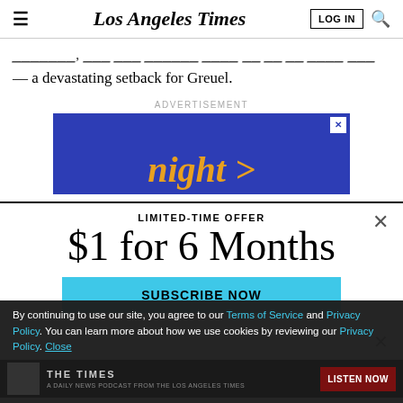Los Angeles Times
— a devastating setback for Greuel.
ADVERTISEMENT
[Figure (screenshot): Blue advertisement banner with italic gold text reading 'night )']
LIMITED-TIME OFFER
$1 for 6 Months
SUBSCRIBE NOW
By continuing to use our site, you agree to our Terms of Service and Privacy Policy. You can learn more about how we use cookies by reviewing our Privacy Policy. Close